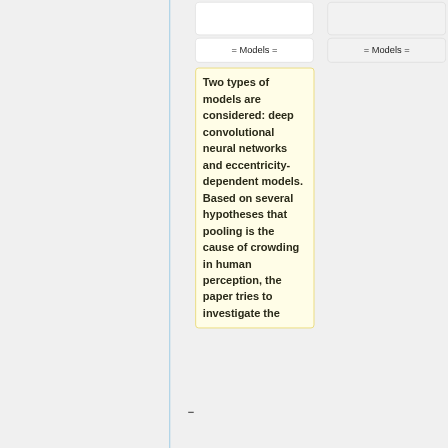[Figure (other): UI/diagram panel showing two columns with top empty boxes, 'Models' label boxes, and a highlighted text box with content about two types of models. A vertical blue line separates left and right areas.]
= Models =
= Models =
Two types of models are considered: deep convolutional neural networks and eccentricity-dependent models. Based on several hypotheses that pooling is the cause of crowding in human perception, the paper tries to investigate the